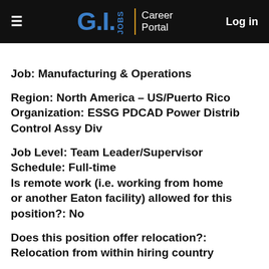G.I. Jobs | Career Portal   Log in
Job: Manufacturing & Operations
Region: North America – US/Puerto Rico
Organization: ESSG PDCAD Power Distrib Control Assy Div
Job Level: Team Leader/Supervisor
Schedule: Full-time
Is remote work (i.e. working from home or another Eaton facility) allowed for this position?: No
Does this position offer relocation?: Relocation from within hiring country